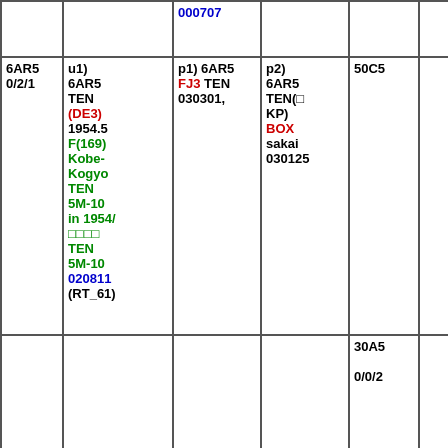| col1 | col2 | col3 | col4 | col5 | col6 | col7 |
| --- | --- | --- | --- | --- | --- | --- |
|  | 000707 |  |  |  |  |  |
| 6AR5
0/2/1 | u1) 6AR5 TEN (DE3) 1954.5 F(169) Kobe-Kogyo TEN 5M-10 in 1954/ □□□□ TEN 5M-10 020811 (RT_61) | p1) 6AR5 FJ3 TEN 030301, | p2) 6AR5 TEN(□KP) BOX sakai 030125 | 50C5 |  |  |
|  |  |  |  | 30A5
0/0/2 |  | u1) 30A (IH4) 19 (RT_62)
u2) 30A TEN (-) Rincan |